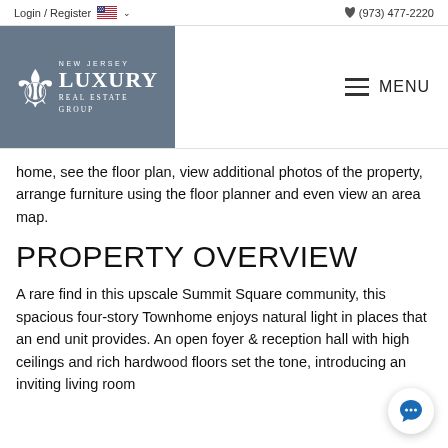Login / Register  🇺🇸 ∨  ☎ (973) 477-2220
[Figure (logo): New Jersey Luxury Real Estate Group logo — grey background with fleur-de-lis icon and company name in white text]
home, see the floor plan, view additional photos of the property, arrange furniture using the floor planner and even view an area map.
PROPERTY OVERVIEW
A rare find in this upscale Summit Square community, this spacious four-story Townhome enjoys natural light in places that an end unit provides. An open foyer & reception hall with high ceilings and rich hardwood floors set the tone, introducing an inviting living room